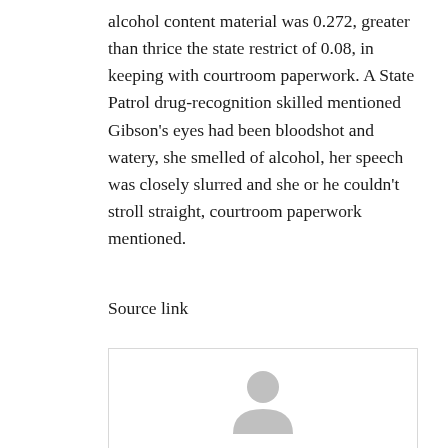alcohol content material was 0.272, greater than thrice the state restrict of 0.08, in keeping with courtroom paperwork. A State Patrol drug-recognition skilled mentioned Gibson’s eyes had been bloodshot and watery, she smelled of alcohol, her speech was closely slurred and she or he couldn’t stroll straight, courtroom paperwork mentioned.
Source link
[Figure (illustration): Generic avatar/user profile icon in light gray, showing a circular head and shoulders silhouette, inside a white bordered box.]